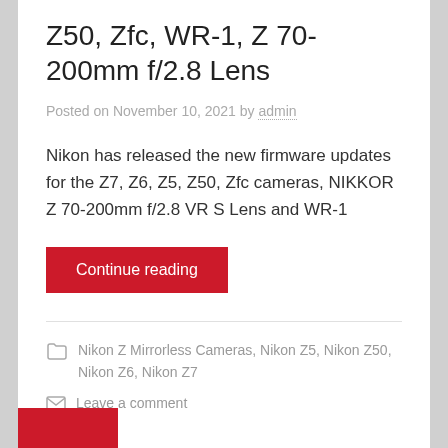Z50, Zfc, WR-1, Z 70-200mm f/2.8 Lens
Posted on November 10, 2021 by admin
Nikon has released the new firmware updates for the Z7, Z6, Z5, Z50, Zfc cameras, NIKKOR Z 70-200mm f/2.8 VR S Lens and WR-1
Continue reading
Nikon Z Mirrorless Cameras, Nikon Z5, Nikon Z50, Nikon Z6, Nikon Z7
Leave a comment